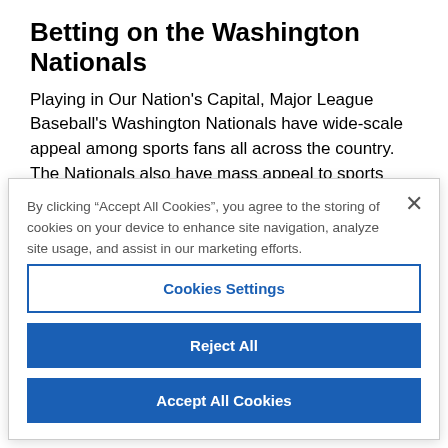Betting on the Washington Nationals
Playing in Our Nation’s Capital, Major League Baseball’s Washington Nationals have wide-scale appeal among sports fans all across the country. The Nationals also have mass appeal to sports bettors in the District of
By clicking “Accept All Cookies”, you agree to the storing of cookies on your device to enhance site navigation, analyze site usage, and assist in our marketing efforts.
Cookies Settings
Reject All
Accept All Cookies